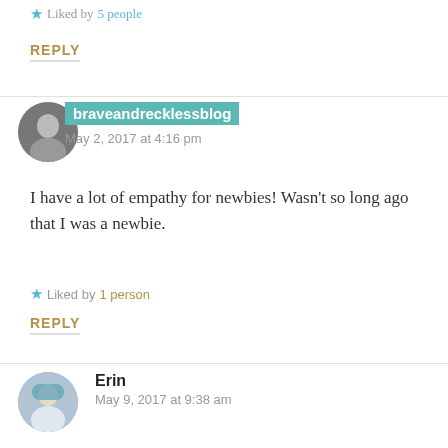Liked by 5 people
REPLY
braveandrecklessblog — May 2, 2017 at 4:16 pm
I have a lot of empathy for newbies! Wasn't so long ago that I was a newbie.
Liked by 1 person
REPLY
Erin — May 9, 2017 at 9:38 am